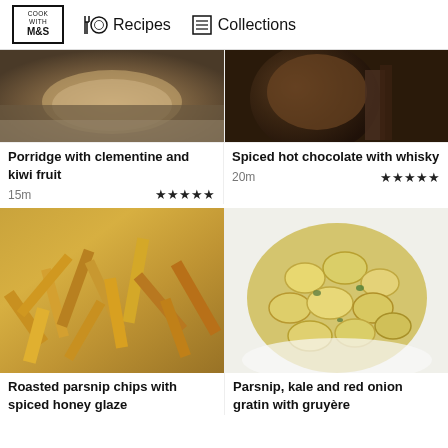Cook with M&S | Recipes | Collections
[Figure (photo): Bowl of porridge with clementine and kiwi fruit on grey linen background]
Porridge with clementine and kiwi fruit
15m ★★★★★
[Figure (photo): Spiced hot chocolate with whisky in dark mug on wooden board]
Spiced hot chocolate with whisky
20m ★★★★★
[Figure (photo): Roasted parsnip chips with spiced honey glaze on baking tray]
Roasted parsnip chips with spiced honey glaze
[Figure (photo): Parsnip, kale and red onion gratin with gruyère in white dish]
Parsnip, kale and red onion gratin with gruyère